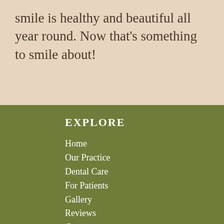smile is healthy and beautiful all year round. Now that’s something to smile about!
EXPLORE
Home
Our Practice
Dental Care
For Patients
Gallery
Reviews
Contact
CONTACT
2168 McCulloch Blvd. N.
Suite 201